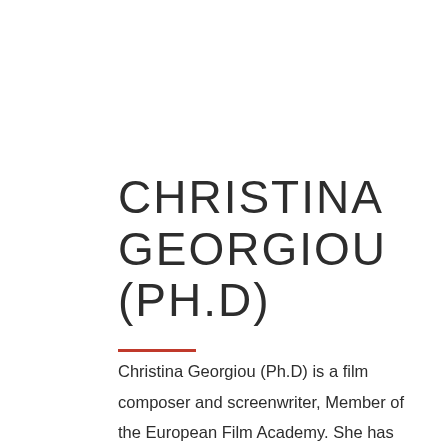CHRISTINA GEORGIOU (PH.D)
Christina Georgiou (Ph.D) is a film composer and screenwriter, Member of the European Film Academy. She has composed